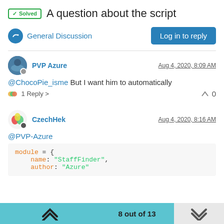✓ Solved  A question about the script
General Discussion
PVP Azure   Aug 4, 2020, 8:09 AM
@ChocoPie_isme But I want him to automatically
1 Reply >    0
CzechHek   Aug 4, 2020, 8:16 AM
@PVP-Azure
module = {
    name: "StaffFinder",
    author: "Azure"
8 out of 13